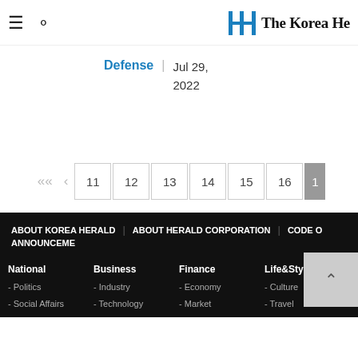The Korea Herald
Defense | Jul 29, 2022
Pagination: << < 11 12 13 14 15 16 17
ABOUT KOREA HERALD | ABOUT HERALD CORPORATION | CODE OF ... ANNOUNCEMENT
National - Politics - Social Affairs
Business - Industry - Technology
Finance - Economy - Market
Life&Style - Culture - Travel